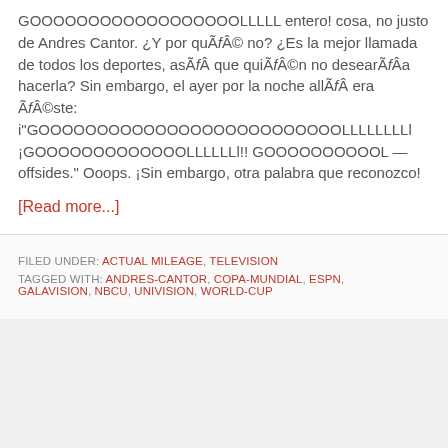GOOOOOOOOOOOOOOOOOOLLLLL entero! cosa, no justo de Andres Cantor. ¿Y por quÃƒÂ© no? ¿Es la mejor llamada de todos los deportes, asÃƒÂ que quiÃƒÂ©n no desearÃƒÂa hacerla? Sin embargo, el ayer por la noche allÃƒÂ era ÃƒÂ©ste: i"GOOOOOOOOOOOOOOOOOOOOOOOOOLLLLLLLLl ¡GOOOOOOOOOOOOOLLLLLLl!! GOOOOOOOOOOL — offsides." Ooops. ¡Sin embargo, otra palabra que reconozco!
[Read more...]
FILED UNDER: ACTUAL MILEAGE, TELEVISION
TAGGED WITH: ANDRES-CANTOR, COPA-MUNDIAL, ESPN, GALAVISION, NBCU, UNIVISION, WORLD-CUP